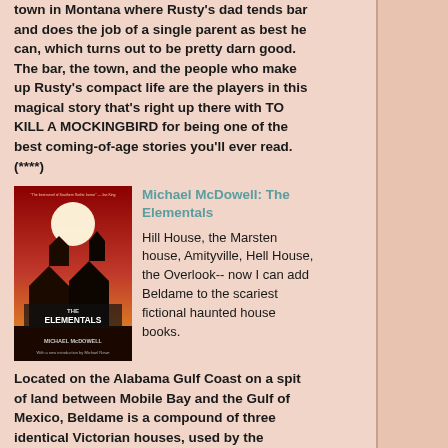town in Montana where Rusty's dad tends bar and does the job of a single parent as best he can, which turns out to be pretty darn good. The bar, the town, and the people who make up Rusty's compact life are the players in this magical story that's right up there with TO KILL A MOCKINGBIRD for being one of the best coming-of-age stories you'll ever read. (****)
Michael McDowell: The Elementals
[Figure (photo): Book cover of 'The Elementals' by Michael McDowell - red background with a dark haunted house silhouette and a large moon]
Hill House, the Marsten house, Amityville, Hell House, the Overlook-- now I can add Beldame to the scariest fictional haunted house books.
Located on the Alabama Gulf Coast on a spit of land between Mobile Bay and the Gulf of Mexico, Beldame is a compound of three identical Victorian houses, used by the McCray and Savage families for